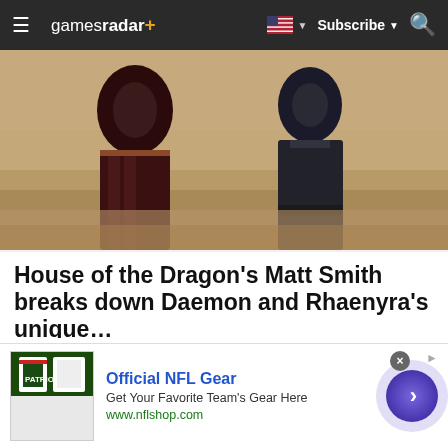gamesradar+  Subscribe
[Figure (photo): Two characters from House of the Dragon standing on a sandy beach, one in dark ornate robes and one in dark military attire]
House of the Dragon's Matt Smith breaks down Daemon and Rhaenyra's unique...
**Warning: This article contains spoilers for House of the Dragon episode 1**House of the Dragon's premiere re-...
GamesRadar
[Figure (photo): Partial view of a person with blonde hair, bottom portion of page]
Official NFL Gear
Get Your Favorite Team's Gear Here
www.nflshop.com